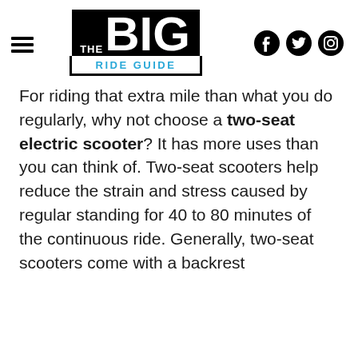THE BIG RIDE GUIDE
For riding that extra mile than what you do regularly, why not choose a two-seat electric scooter? It has more uses than you can think of. Two-seat scooters help reduce the strain and stress caused by regular standing for 40 to 80 minutes of the continuous ride. Generally, two-seat scooters come with a backrest